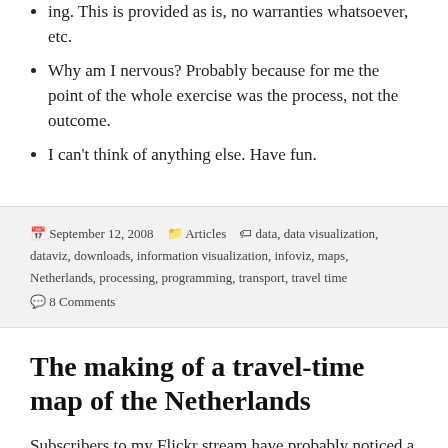ing. This is provided as is, no warranties whatsoever, etc.
Why am I nervous? Probably because for me the point of the whole exercise was the process, not the outcome.
I can't think of anything else. Have fun.
September 12, 2008   Articles   data, data visualization, dataviz, downloads, information visualization, infoviz, maps, Netherlands, processing, programming, transport, travel time   8 Comments
The making of a travel-time map of the Netherlands
Subscribers to my Flickr stream have probably noticed a number of images of some kind of map flo...